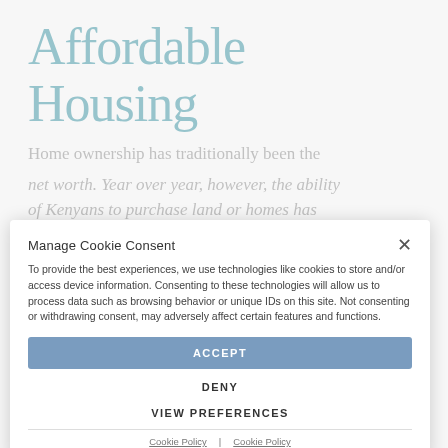Affordable Housing
Home ownership has traditionally been the foundation of the Kenyan dream as a means to grow net worth. Year over year, however, the ability of Kenyans to purchase land or homes has decreased. The World Bank estimated in 2017 that 6 out of 10 households in Nairobi are in the informal settlements[1]. In government administrations, current and previous, housing has been a cornerstone of its agenda, including the current “Big Four Agenda” yet availability and affordability continue to be
Manage Cookie Consent

To provide the best experiences, we use technologies like cookies to store and/or access device information. Consenting to these technologies will allow us to process data such as browsing behavior or unique IDs on this site. Not consenting or withdrawing consent, may adversely affect certain features and functions.

ACCEPT

DENY

VIEW PREFERENCES

Cookie Policy | Cookie Policy